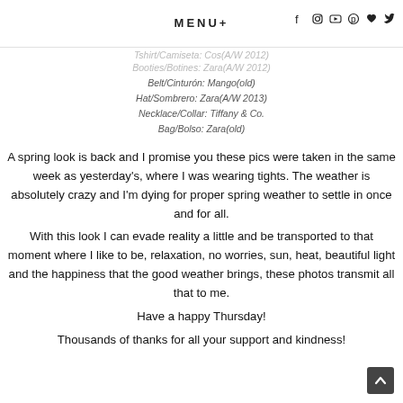MENU+
Tshirt/Camiseta: Cos(A/W 2012)
Booties/Botines: Zara(A/W 2012)
Belt/Cinturón: Mango(old)
Hat/Sombrero: Zara(A/W 2013)
Necklace/Collar: Tiffany & Co.
Bag/Bolso: Zara(old)
A spring look is back and I promise you these pics were taken in the same week as yesterday's, where I was wearing tights. The weather is absolutely crazy and I'm dying for proper spring weather to settle in once and for all. With this look I can evade reality a little and be transported to that moment where I like to be, relaxation, no worries, sun, heat, beautiful light and the happiness that the good weather brings, these photos transmit all that to me. Have a happy Thursday! Thousands of thanks for all your support and kindness!